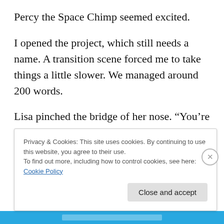Percy the Space Chimp seemed excited.
I opened the project, which still needs a name. A transition scene forced me to take things a little slower. We managed around 200 words.
Lisa pinched the bridge of her nose. “You’re about to have company.”
“How do you know?” Percy asked.
She pointed at herself. “Robot girl. I’m patched into the
Privacy & Cookies: This site uses cookies. By continuing to use this website, you agree to their use.
To find out more, including how to control cookies, see here: Cookie Policy
Close and accept